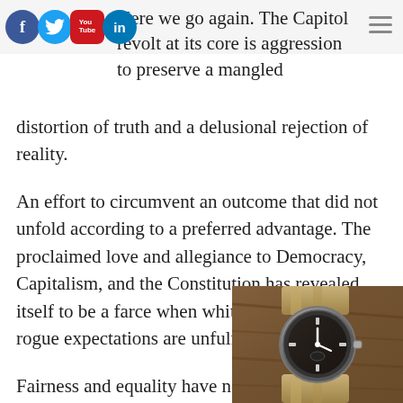[Figure (other): Social media icons: Facebook, Twitter, YouTube, LinkedIn]
Here we go again. The Capitol revolt at its core is aggression to preserve a mangled distortion of truth and a delusional rejection of reality.
An effort to circumvent an outcome that did not unfold according to a preferred advantage. The proclaimed love and allegiance to Democracy, Capitalism, and the Constitution has revealed itself to be a farce when white privilege and rogue expectations are unfulfilled.
Fairness and equality have never been the American way, with more than a thumb of collusion on the scales and at the highest levels subversively unbalancing the scales
[Figure (photo): Photo of a vintage wristwatch with dark dial and tan/khaki NATO strap on a wooden surface]